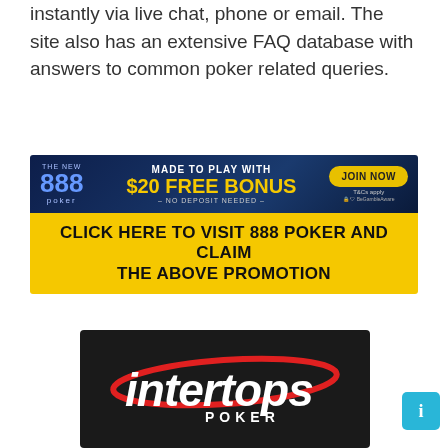instantly via live chat, phone or email. The site also has an extensive FAQ database with answers to common poker related queries.
[Figure (illustration): 888 Poker banner advertisement: dark blue background with '888 poker' logo on left, center text 'MADE TO PLAY WITH $20 FREE BONUS - NO DEPOSIT NEEDED -', yellow 'JOIN NOW' button on right with T&Cs apply text. Below is yellow bar with black text 'CLICK HERE TO VISIT 888 POKER AND CLAIM THE ABOVE PROMOTION']
[Figure (logo): Intertops Poker logo on dark background showing italic white 'intertops' text with red oval swoosh and 'POKER' in white capital letters below]